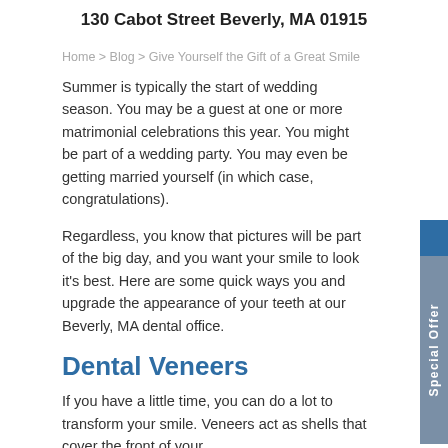130 Cabot Street Beverly, MA 01915
Home > Blog > Give Yourself the Gift of a Great Smile
Summer is typically the start of wedding season. You may be a guest at one or more matrimonial celebrations this year. You might be part of a wedding party. You may even be getting married yourself (in which case, congratulations).
Regardless, you know that pictures will be part of the big day, and you want your smile to look it’s best. Here are some quick ways you and upgrade the appearance of your teeth at our Beverly, MA dental office.
Dental Veneers
If you have a little time, you can do a lot to transform your smile. Veneers act as shells that cover the front of your